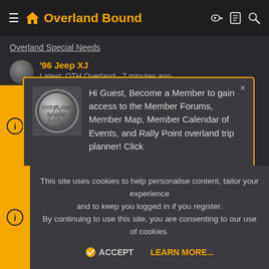Overland Bound
Overland Special Needs
'96 Jeep XJ
Latest: OTH Overland · 7 minutes ago
New Members Start Here!
Hi Guest, Become a Member to gain access to the Member Forums, Member Map, Member Calendar of Events, and Rally Point overland trip planner! Click this link LEARN MORE for more information!
offroad Overland
Online statistics
This site uses cookies to help personalise content, tailor your experience and to keep you logged in if you register.
By continuing to use this site, you are consenting to our use of cookies.
ACCEPT    LEARN MORE...